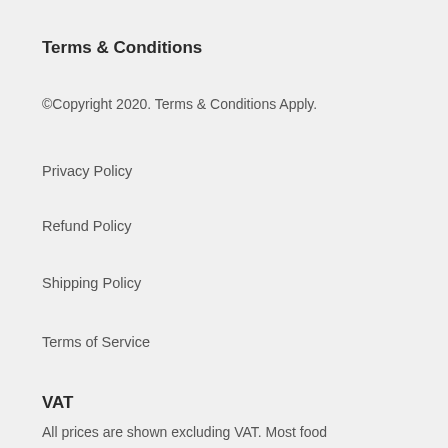Terms & Conditions
©Copyright 2020. Terms & Conditions Apply.
Privacy Policy
Refund Policy
Shipping Policy
Terms of Service
VAT
All prices are shown excluding VAT. Most food